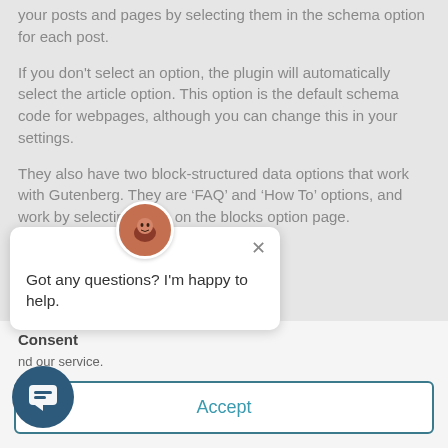your posts and pages by selecting them in the schema option for each post.
If you don't select an option, the plugin will automatically select the article option. This option is the default schema code for webpages, although you can change this in your settings.
They also have two block-structured data options that work with Gutenberg. They are ‘FAQ’ and ‘How To’ options, and work by selecting them on the blocks option page.
EQ and also adding
Consent
nd our service.
Got any questions? I’m happy to help.
Accept